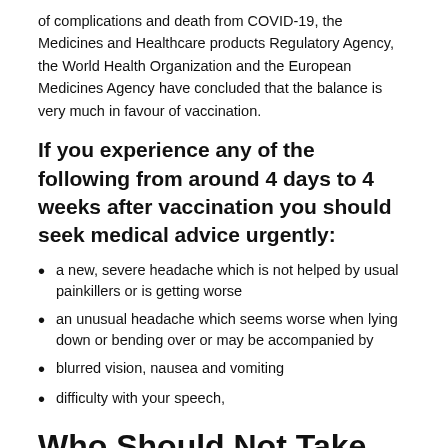of complications and death from COVID-19, the Medicines and Healthcare products Regulatory Agency, the World Health Organization and the European Medicines Agency have concluded that the balance is very much in favour of vaccination.
If you experience any of the following from around 4 days to 4 weeks after vaccination you should seek medical advice urgently:
a new, severe headache which is not helped by usual painkillers or is getting worse
an unusual headache which seems worse when lying down or bending over or may be accompanied by
blurred vision, nausea and vomiting
difficulty with your speech,
Who Should Not Take The